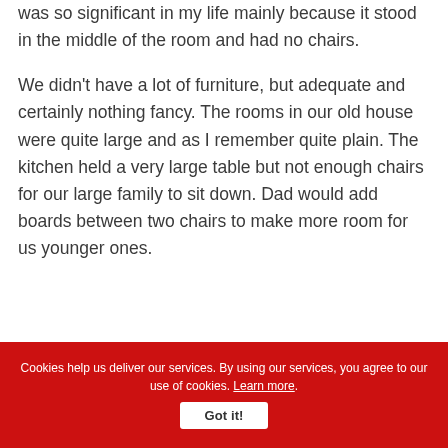was so significant in my life mainly because it stood in the middle of the room and had no chairs.
We didn't have a lot of furniture, but adequate and certainly nothing fancy. The rooms in our old house were quite large and as I remember quite plain. The kitchen held a very large table but not enough chairs for our large family to sit down. Dad would add boards between two chairs to make more room for us younger ones.
Cookies help us deliver our services. By using our services, you agree to our use of cookies. Learn more. Got it!